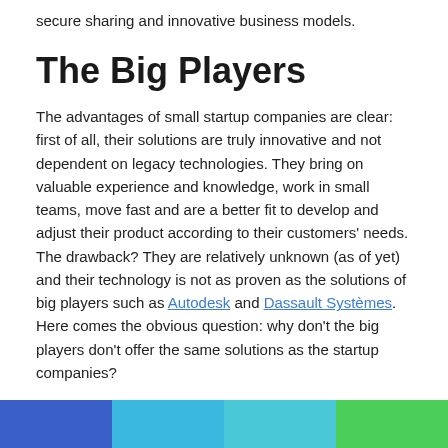secure sharing and innovative business models.
The Big Players
The advantages of small startup companies are clear: first of all, their solutions are truly innovative and not dependent on legacy technologies. They bring on valuable experience and knowledge, work in small teams, move fast and are a better fit to develop and adjust their product according to their customers' needs. The drawback? They are relatively unknown (as of yet) and their technology is not as proven as the solutions of big players such as Autodesk and Dassault Systèmes. Here comes the obvious question: why don't the big players don't offer the same solutions as the startup companies?
[Figure (other): Color bar with four segments: blue, light blue, teal, and green]